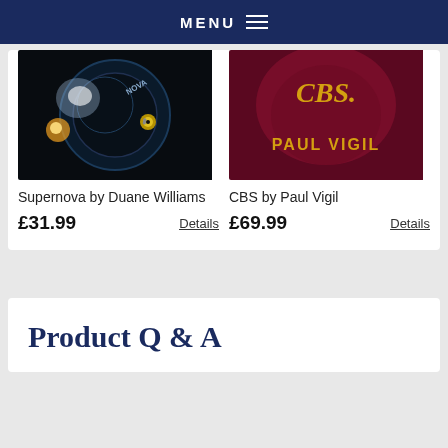MENU
[Figure (photo): Product image for Supernova by Duane Williams - dark background with circular dial/lens effect, text NOVA visible]
Supernova by Duane Williams
£31.99
Details
[Figure (photo): Product image for CBS by Paul Vigil - dark red/maroon background with gold cursive logo and PAUL VIGIL text]
CBS by Paul Vigil
£69.99
Details
Product Q & A